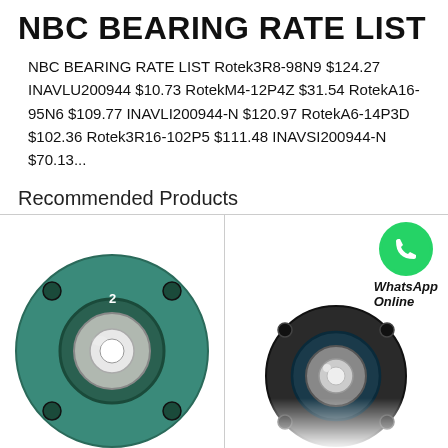NBC BEARING RATE LIST
NBC BEARING RATE LIST Rotek3R8-98N9 $124.27 INAVLU200944 $10.73 RotekM4-12P4Z $31.54 RotekA16-95N6 $109.77 INAVLI200944-N $120.97 RotekA6-14P3D $102.36 Rotek3R16-102P5 $111.48 INAVSI200944-N $70.13...
Recommended Products
[Figure (photo): Teal/green cartridge unit bearing (flange mount), front view]
Cartridge Unit Bearings
[Figure (photo): Black cartridge unit bearing (flange mount), front view with WhatsApp Online badge]
Cartridge Unit Bearings
All Products
Contact Now